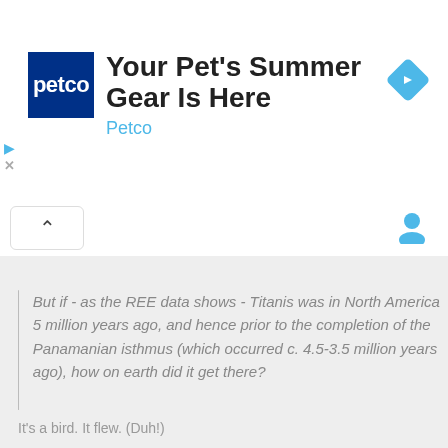[Figure (screenshot): Petco advertisement banner with logo, title 'Your Pet's Summer Gear Is Here', brand name 'Petco', and a blue diamond arrow icon]
But if - as the REE data shows - Titanis was in North America 5 million years ago, and hence prior to the completion of the Panamanian isthmus (which occurred c. 4.5-3.5 million years ago), how on earth did it get there?
It's a bird. It flew. (Duh!)